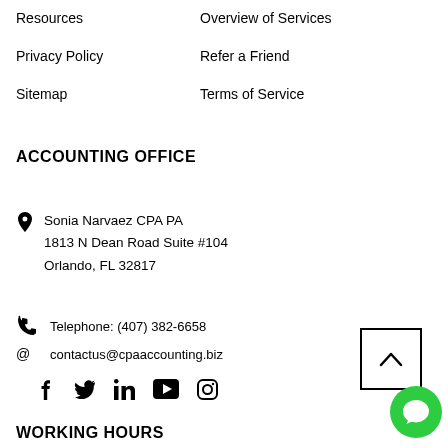Resources
Overview of Services
Privacy Policy
Refer a Friend
Sitemap
Terms of Service
ACCOUNTING OFFICE
Sonia Narvaez CPA PA
1813 N Dean Road Suite #104
Orlando, FL 32817
Telephone: (407) 382-6658
contactus@cpaaccounting.biz
[Figure (other): Social media icons: Facebook, Twitter, LinkedIn, YouTube, Instagram]
[Figure (other): Back to top button with chevron up arrow]
[Figure (other): Green chat bubble button]
WORKING HOURS